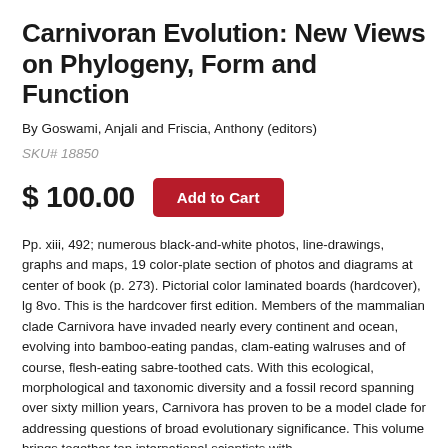Carnivoran Evolution: New Views on Phylogeny, Form and Function
By Goswami, Anjali and Friscia, Anthony (editors)
SKU# 18850
$ 100.00
Pp. xiii, 492; numerous black-and-white photos, line-drawings, graphs and maps, 19 color-plate section of photos and diagrams at center of book (p. 273).  Pictorial color laminated boards (hardcover), lg 8vo.  This is the hardcover first edition.  Members of the mammalian clade Carnivora have invaded nearly every continent and ocean, evolving into bamboo-eating pandas, clam-eating walruses and of course, flesh-eating sabre-toothed cats.  With this ecological, morphological and taxonomic diversity and a fossil record spanning over sixty million years, Carnivora has proven to be a model clade for addressing questions of broad evolutionary significance.  This volume brings together top international scientists with